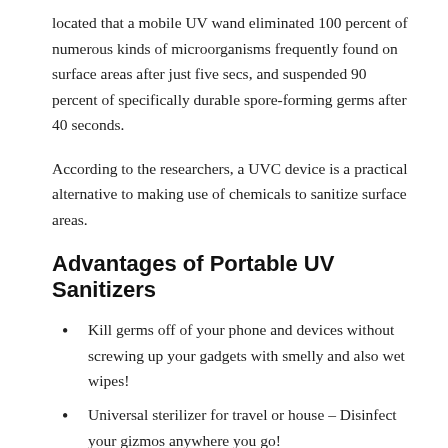located that a mobile UV wand eliminated 100 percent of numerous kinds of microorganisms frequently found on surface areas after just five secs, and suspended 90 percent of specifically durable spore-forming germs after 40 seconds.
According to the researchers, a UVC device is a practical alternative to making use of chemicals to sanitize surface areas.
Advantages of Portable UV Sanitizers
Kill germs off of your phone and devices without screwing up your gadgets with smelly and also wet wipes!
Universal sterilizer for travel or house – Disinfect your gizmos anywhere you go!